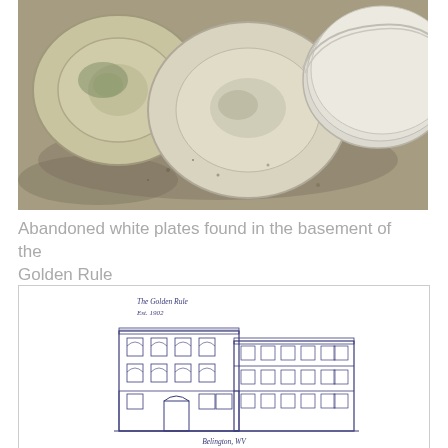[Figure (photo): Photograph of abandoned white plates and bowls sitting on a dirty, dusty surface in a basement.]
Abandoned white plates found in the basement of the Golden Rule
[Figure (illustration): Blue ink illustration of a multi-story brick building labeled 'The Golden Rule, Est. 1902, Belington, WV']